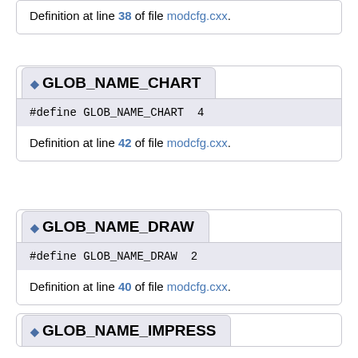Definition at line 38 of file modcfg.cxx.
GLOB_NAME_CHART
#define GLOB_NAME_CHART  4
Definition at line 42 of file modcfg.cxx.
GLOB_NAME_DRAW
#define GLOB_NAME_DRAW  2
Definition at line 40 of file modcfg.cxx.
GLOB_NAME_IMPRESS